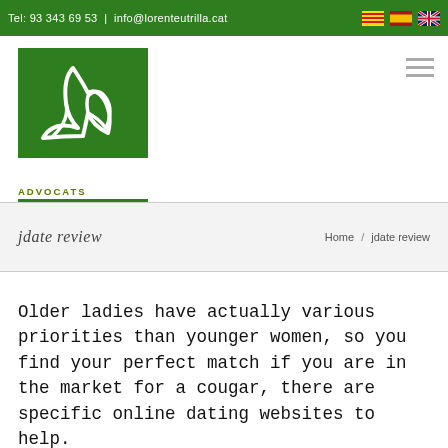Tel: 93 343 69 53 | info@lorenteutrilla.cat
[Figure (logo): Lorente & Utrilla Advocats logo — green square with stylized cursive L/U letterform, text ADVOCATS, green bar, LORENTE & UTRILLA]
jdate review
Home / jdate review
Older ladies have actually various priorities than younger women, so you find your perfect match if you are in the market for a cougar, there are specific online dating websites to help.